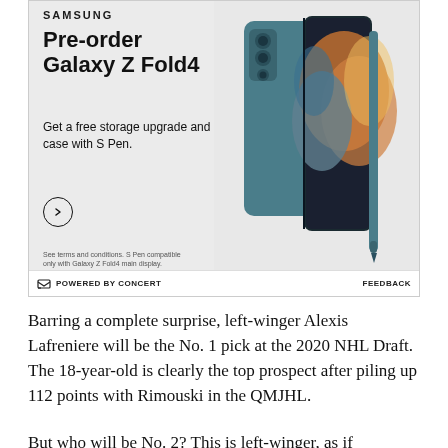[Figure (other): Samsung advertisement for Galaxy Z Fold4 pre-order. Shows Samsung logo, 'Pre-order Galaxy Z Fold4' headline, 'Get a free storage upgrade and case with S Pen.' tagline, a circular arrow button, fine print about terms and S Pen compatibility, and an image of the teal/green Galaxy Z Fold4 phone with a case and S Pen stylus. Footer reads 'POWERED BY CONCERT' and 'FEEDBACK'.]
Barring a complete surprise, left-winger Alexis Lafreniere will be the No. 1 pick at the 2020 NHL Draft. The 18-year-old is clearly the top prospect after piling up 112 points with Rimouski in the QMJHL.
But who will be No. 2? This is left-winger, as if...